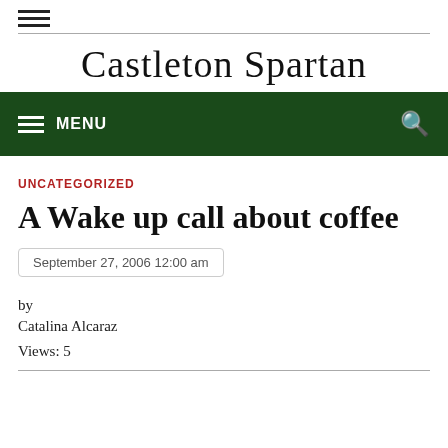Castleton Spartan
MENU
UNCATEGORIZED
A Wake up call about coffee
September 27, 2006 12:00 am
by
Catalina Alcaraz
Views: 5